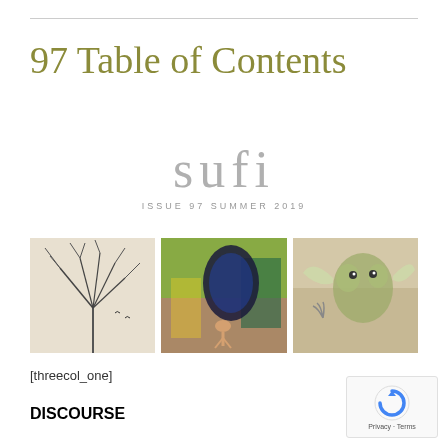97 Table of Contents
[Figure (logo): Sufi magazine logo with text 'sufi' in large gray letters and subtitle 'ISSUE 97 SUMMER 2019']
[Figure (photo): Three artwork images side by side: left shows abstract tree/hair sketch in black and white, center shows a figure with a large butterfly in colorful green and blue tones, right shows a creature illustration in muted tones]
[threecol_one]
DISCOURSE